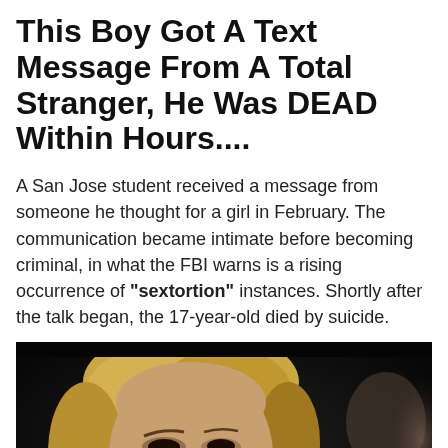This Boy Got A Text Message From A Total Stranger, He Was DEAD Within Hours....
A San Jose student received a message from someone he thought for a girl in February. The communication became intimate before becoming criminal, in what the FBI warns is a rising occurrence of "sextortion" instances. Shortly after the talk began, the 17-year-old died by suicide.
[Figure (photo): Close-up photo of a woman with blonde hair against a dark background, with a blurred figure visible to the right.]